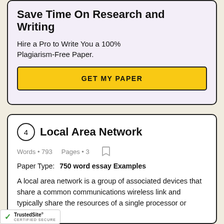Save Time On Research and Writing
Hire a Pro to Write You a 100% Plagiarism-Free Paper.
GET MY PAPER
4 Local Area Network
Words • 793   Pages • 3
Paper Type: 750 word essay Examples
A local area network is a group of associated devices that share a common communications wireless link and typically share the resources of a single processor or server within